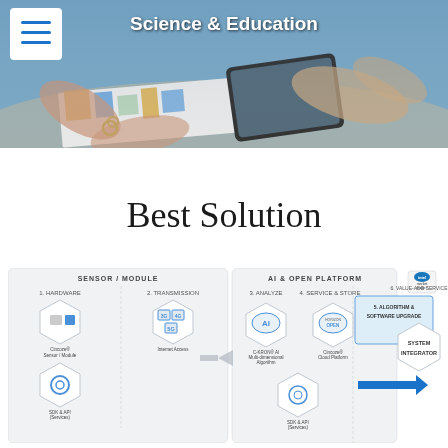Science & Education
Best Solution
[Figure (infographic): IoT/AI platform architecture diagram showing: Sensor/Module section (1. Hardware with Cincoze Sensor Module, 2. Transmission with 3G/4G/5G Internet Access, SDK & API Services) connected via arrow to AI & Open Platform section (3. Analyze with Cincoze AI Multi-dimensional Algorithm, 4. Service & Store with Cincoze Cloud Platform, SDK & API Services) leading to 5. Algorithm & Software Upgrade, then arrow to 6. Value-Add Service with System Integrator. Intel market ready logo in top right.]